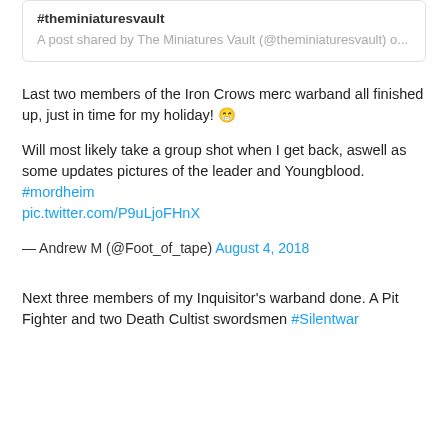#theminiaturesvault
A post shared by The Miniatures Vault (@theminiaturesvault) o...
Last two members of the Iron Crows merc warband all finished up, just in time for my holiday! 😁
Will most likely take a group shot when I get back, aswell as some updates pictures of the leader and Youngblood. #mordheim pic.twitter.com/P9uLjoFHnX
— Andrew M (@Foot_of_tape) August 4, 2018
Next three members of my Inquisitor's warband done. A Pit Fighter and two Death Cultist swordsmen #Silentwar